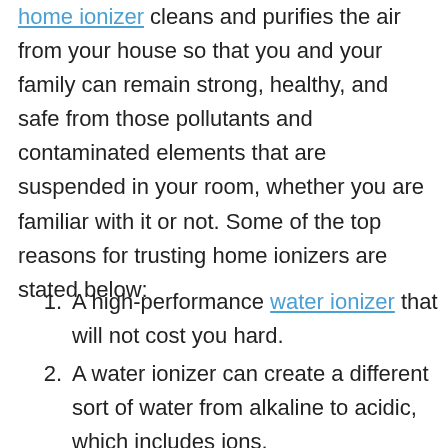home ionizer cleans and purifies the air from your house so that you and your family can remain strong, healthy, and safe from those pollutants and contaminated elements that are suspended in your room, whether you are familiar with it or not. Some of the top reasons for trusting home ionizers are stated below:
A high-performance water ionizer that will not cost you hard.
A water ionizer can create a different sort of water from alkaline to acidic, which includes ions.
Your countertop is short of space; you